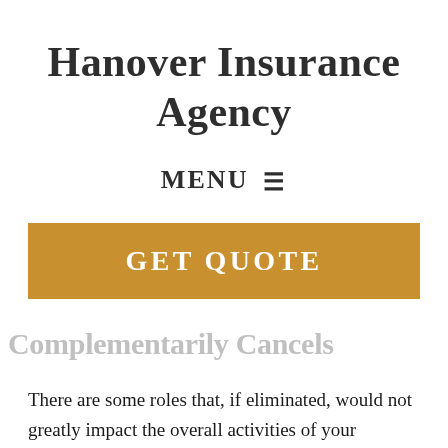Hanover Insurance Agency
MENU ☰
[Figure (other): GET QUOTE button — a golden/amber rectangular button with white bold text reading GET QUOTE]
Complementarily Cancels
There are some roles that, if eliminated, would not greatly impact the overall activities of your